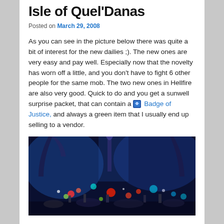Isle of Quel'Danas
Posted on March 29, 2008
As you can see in the picture below there was quite a bit of interest for the new dailies ;). The new ones are very easy and pay well. Especially now that the novelty has worn off a little, and you don't have to fight 6 other people for the same mob. The two new ones in Hellfire are also very good. Quick to do and you get a sunwell surprise packet, that can contain a Badge of Justice, and always a green item that I usually end up selling to a vendor.
[Figure (photo): World of Warcraft in-game screenshot showing Isle of Quel'Danas with many player characters gathered, blue-purple arcane lighting, ornate architecture with arches and glowing decorations, and colorful player effects filling the scene.]